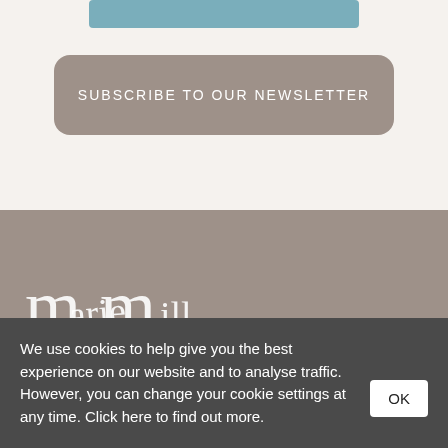[Figure (other): Teal/blue rounded rectangle bar near top of page]
SUBSCRIBE TO OUR NEWSLETTER
[Figure (logo): Cursive script logo text reading 'Marie Mill' or similar on taupe background]
We use cookies to help give you the best experience on our website and to analyse traffic. However, you can change your cookie settings at any time. Click here to find out more.